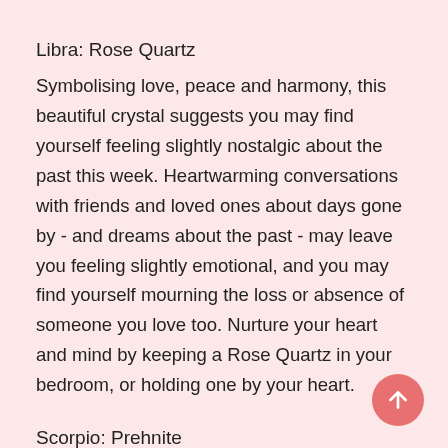Libra: Rose Quartz
Symbolising love, peace and harmony, this beautiful crystal suggests you may find yourself feeling slightly nostalgic about the past this week. Heartwarming conversations with friends and loved ones about days gone by - and dreams about the past - may leave you feeling slightly emotional, and you may find yourself mourning the loss or absence of someone you love too. Nurture your heart and mind by keeping a Rose Quartz in your bedroom, or holding one by your heart.
Scorpio: Prehnite
Known as the stone for ‘healing the healer’, this stunning crystal suggests you may find yourself feeling very frustrated with a very stubborn individual